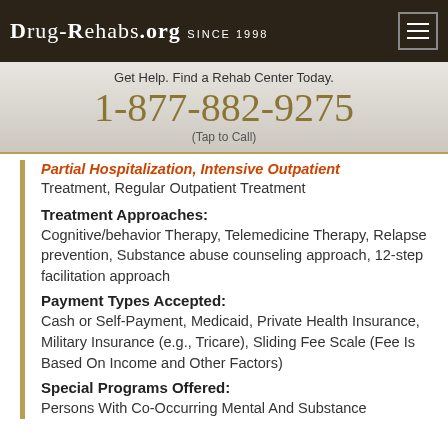Drug-Rehabs.org Since 1998
Get Help. Find a Rehab Center Today.
1-877-882-9275
(Tap to Call)
Partial Hospitalization, Intensive Outpatient Treatment, Regular Outpatient Treatment
Treatment Approaches: Cognitive/behavior Therapy, Telemedicine Therapy, Relapse prevention, Substance abuse counseling approach, 12-step facilitation approach
Payment Types Accepted: Cash or Self-Payment, Medicaid, Private Health Insurance, Military Insurance (e.g., Tricare), Sliding Fee Scale (Fee Is Based On Income and Other Factors)
Special Programs Offered: Persons With Co-Occurring Mental And Substance